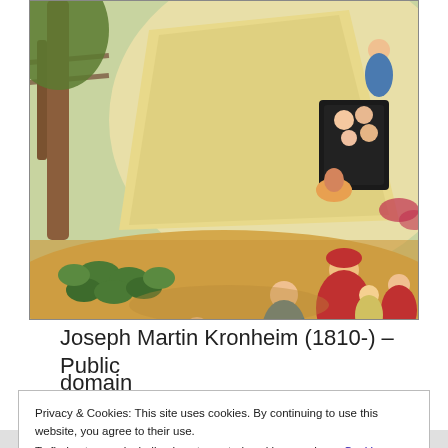[Figure (illustration): A colorful vintage illustration showing a rural scene with women and children in 19th-century clothing, a thatched haystack or hayrick structure, trees, and a garden. Multiple figures including a woman in a red dress carrying a basket, children, and people visible inside a dark doorway or opening in the haystack.]
Joseph Martin Kronheim (1810-) – Public domain
Privacy & Cookies: This site uses cookies. By continuing to use this website, you agree to their use.
To find out more, including how to control cookies, see here: Cookie Policy